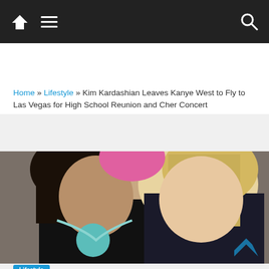Navigation bar with home, menu, and search icons
Home » Lifestyle » Kim Kardashian Leaves Kanye West to Fly to Las Vegas for High School Reunion and Cher Concert
Kim Kardashian Leaves Kanye West to Fly to Las Vegas for High School Reunion and Cher Concert
[Figure (photo): Two women taking a selfie together, one with dark hair wearing turquoise jewelry and one with blonde hair, at what appears to be an outdoor event]